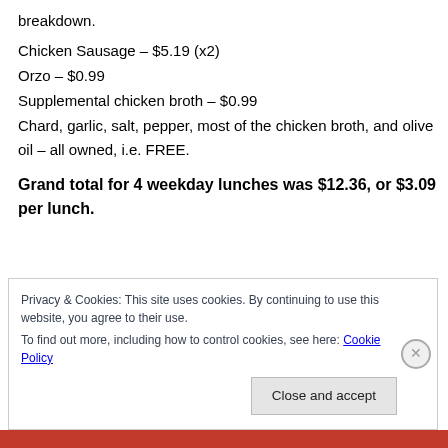breakdown.
Chicken Sausage – $5.19 (x2)
Orzo – $0.99
Supplemental chicken broth – $0.99
Chard, garlic, salt, pepper, most of the chicken broth, and olive oil – all owned, i.e. FREE.
Grand total for 4 weekday lunches was $12.36, or $3.09 per lunch.
Privacy & Cookies: This site uses cookies. By continuing to use this website, you agree to their use.
To find out more, including how to control cookies, see here: Cookie Policy
Close and accept